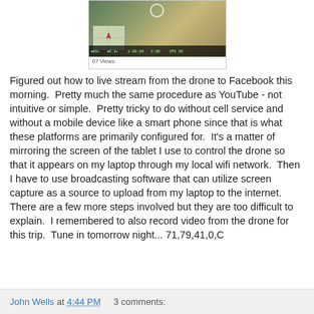[Figure (screenshot): Screenshot of a drone live stream video feed showing aerial view with map overlay and HUD data bar, labeled '07 Views']
Figured out how to live stream from the drone to Facebook this morning.  Pretty much the same procedure as YouTube - not intuitive or simple.  Pretty tricky to do without cell service and without a mobile device like a smart phone since that is what these platforms are primarily configured for.  It's a matter of mirroring the screen of the tablet I use to control the drone so that it appears on my laptop through my local wifi network.  Then I have to use broadcasting software that can utilize screen capture as a source to upload from my laptop to the internet.  There are a few more steps involved but they are too difficult to explain.  I remembered to also record video from the drone for this trip.  Tune in tomorrow night... 71,79,41,0,C
John Wells at 4:44 PM    3 comments: